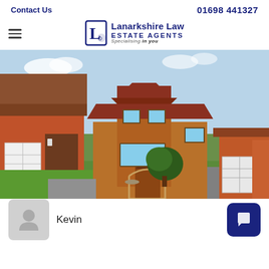Contact Us   01698 441327
[Figure (logo): Lanarkshire Law Estate Agents logo with stylised L icon and tagline 'Specialising in you']
[Figure (photo): Exterior photograph of a detached brick house with a pitched roof, front garden with lawn and shrub, driveway, and neighbouring properties on either side]
Kevin